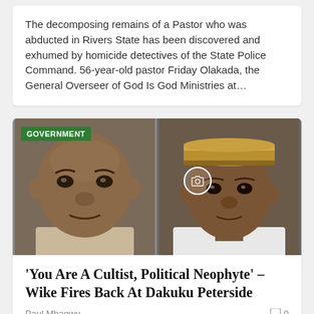The decomposing remains of a Pastor who was abducted in Rivers State has been discovered and exhumed by homicide detectives of the State Police Command. 56-year-old pastor Friday Olakada, the General Overseer of God Is God Ministries at…
[Figure (photo): Two men's faces side by side. Left: a heavyset African man with an intense expression. Right: an African man wearing a patterned traditional cap. A green 'GOVERNMENT' badge overlays the top-left. A camera icon circle overlays the center-right area.]
'You Are A Cultist, Political Neophyte' – Wike Fires Back At Dakuku Peterside
Paul Mbagwu
0
Governor Nyesom Wike has alleged that former Director General of Nigerian Maritime Administration and Safety Agency, NIMASA, Dr Dakuku Peterside was once